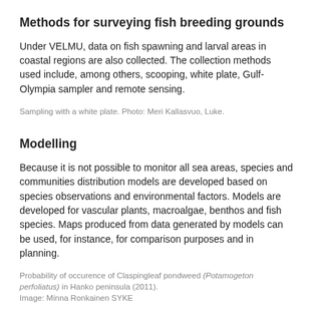Methods for surveying fish breeding grounds
Under VELMU, data on fish spawning and larval areas in coastal regions are also collected. The collection methods used include, among others, scooping, white plate, Gulf-Olympia sampler and remote sensing.
Sampling with a white plate. Photo: Meri Kallasvuo, Luke.
Modelling
Because it is not possible to monitor all sea areas, species and communities distribution models are developed based on species observations and environmental factors. Models are developed for vascular plants, macroalgae, benthos and fish species. Maps produced from data generated by models can be used, for instance, for comparison purposes and in planning.
Probability of occurence of Claspingleaf pondweed (Potamogeton perfoliatus) in Hanko peninsula (2011).
Image: Minna Ronkainen SYKE